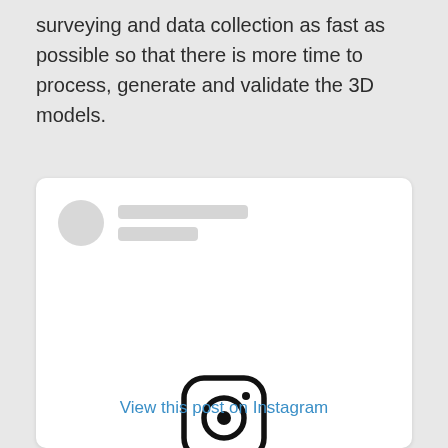surveying and data collection as fast as possible so that there is more time to process, generate and validate the 3D models.
[Figure (screenshot): An Instagram embed card showing a placeholder profile (gray circle avatar with two gray placeholder lines for name/handle), the Instagram camera logo icon in the center, and a 'View this post on Instagram' blue link at the bottom.]